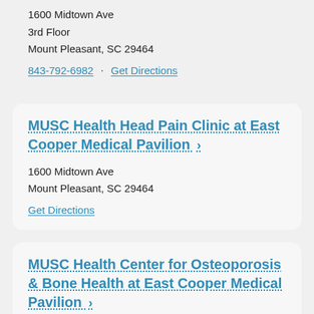1600 Midtown Ave
3rd Floor
Mount Pleasant, SC 29464
843-792-6982 · Get Directions
MUSC Health Head Pain Clinic at East Cooper Medical Pavilion ›
1600 Midtown Ave
Mount Pleasant, SC 29464
Get Directions
MUSC Health Center for Osteoporosis & Bone Health at East Cooper Medical Pavilion ›
1600 Midtown Ave
Mount Pleasant, SC 29464
Get Directions